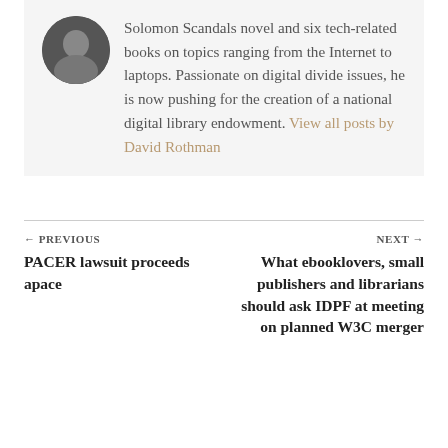Solomon Scandals novel and six tech-related books on topics ranging from the Internet to laptops. Passionate on digital divide issues, he is now pushing for the creation of a national digital library endowment. View all posts by David Rothman
← PREVIOUS
PACER lawsuit proceeds apace
NEXT →
What ebooklovers, small publishers and librarians should ask IDPF at meeting on planned W3C merger